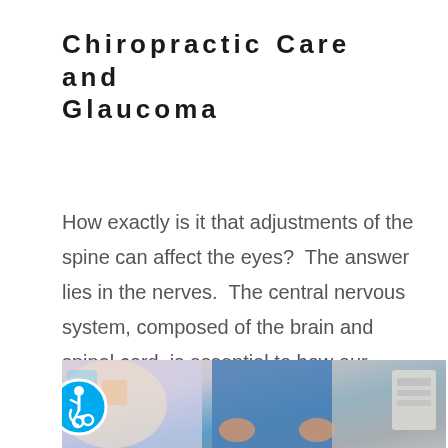Chiropractic Care and Glaucoma
How exactly is it that adjustments of the spine can affect the eyes?  The answer lies in the nerves.  The central nervous system, composed of the brain and spinal cord, is essential to how our bodies function.  The optic nerve communicates with the brain to tell [...]
[Figure (photo): Photo of a person, partially visible, with colorful background elements. An accessibility icon badge (wheelchair user in blue circle) is overlaid in the bottom-left corner.]